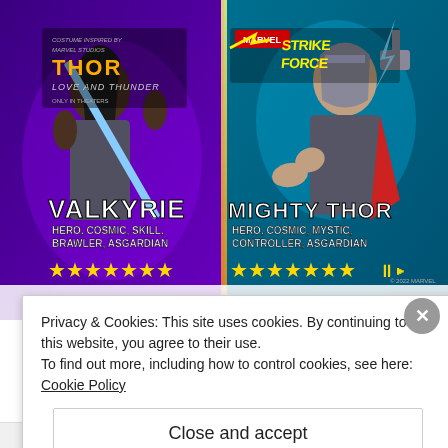[Figure (screenshot): Marvel Strike Force game screenshot showing Valkyrie and Mighty Thor characters. Left side shows Valkyrie with text 'VALKYRIE' and 'HERO, COSMIC, SKILL, BRAWLER, ASGARDIAN' with 7 gold stars. Right side shows Mighty Thor with text 'MIGHTY THOR' and 'HERO, COSMIC, MYSTIC, CONTROLLER, ASGARDIAN' with 7 gold stars. Top left shows 'Thor Love and Thunder - Costume Inspired By Marvel Studios - Only in Theaters' logo. Top center shows Marvel Strike Force logo. Bottom partially cut-off text reads 'iPhone owners are obsessed with this Marvel'.]
Privacy & Cookies: This site uses cookies. By continuing to use this website, you agree to their use.
To find out more, including how to control cookies, see here:
Cookie Policy
Close and accept